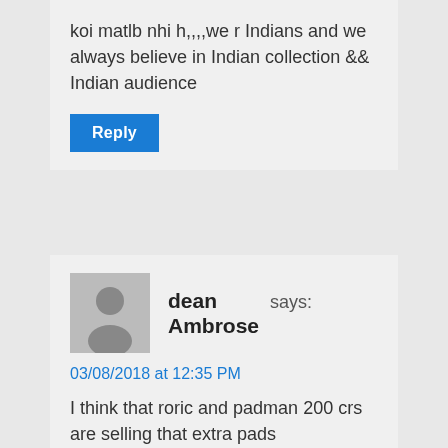koi matlb nhi h,,,,we r Indians and we always believe in Indian collection && Indian audience
Reply
[Figure (illustration): Gray avatar/placeholder user icon]
dean Ambrose says:
03/08/2018 at 12:35 PM
I think that roric and padman 200 crs are selling that extra pads